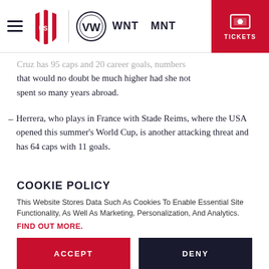USA Soccer nav bar with hamburger menu, USA Soccer logo, VW logo, WNT, MNT navigation links, and TICKETS button
Cruz has 95 caps and 20 career goals, numbers that would no doubt be much higher had she not spent so many years abroad.
Herrera, who plays in France with Stade Reims, where the USA opened this summer's World Cup, is another attacking threat and has 64 caps with 11 goals.
COOKIE POLICY
This Website Stores Data Such As Cookies To Enable Essential Site Functionality, As Well As Marketing, Personalization, And Analytics.
FIND OUT MORE.
ACCEPT   DENY